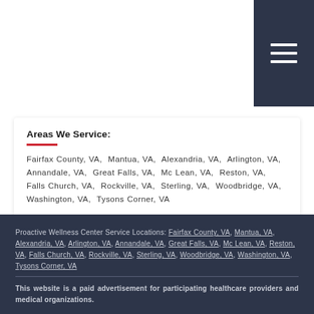[Figure (other): Dark navy hamburger menu button in top-right corner]
Areas We Service:
Fairfax County, VA,  Mantua, VA,  Alexandria, VA,  Arlington, VA,  Annandale, VA,  Great Falls, VA,  Mc Lean, VA,  Reston, VA,  Falls Church, VA,  Rockville, VA,  Sterling, VA,  Woodbridge, VA,  Washington, VA,  Tysons Corner, VA
Proactive Wellness Center Service Locations: Fairfax County, VA, Mantua, VA, Alexandria, VA, Arlington, VA, Annandale, VA, Great Falls, VA, Mc Lean, VA, Reston, VA, Falls Church, VA, Rockville, VA, Sterling, VA, Woodbridge, VA, Washington, VA, Tysons Corner, VA
This website is a paid advertisement for participating healthcare providers and medical organizations.